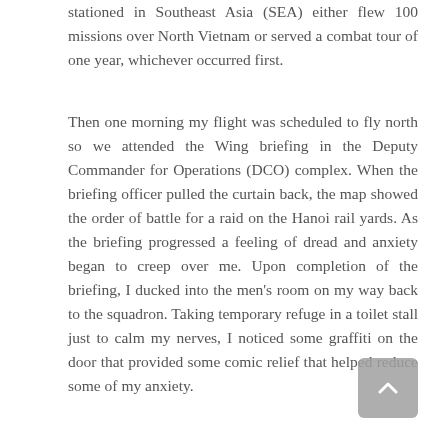stationed in Southeast Asia (SEA) either flew 100 missions over North Vietnam or served a combat tour of one year, whichever occurred first.
Then one morning my flight was scheduled to fly north so we attended the Wing briefing in the Deputy Commander for Operations (DCO) complex. When the briefing officer pulled the curtain back, the map showed the order of battle for a raid on the Hanoi rail yards. As the briefing progressed a feeling of dread and anxiety began to creep over me. Upon completion of the briefing, I ducked into the men's room on my way back to the squadron. Taking temporary refuge in a toilet stall just to calm my nerves, I noticed some graffiti on the door that provided some comic relief that helped reduce some of my anxiety.